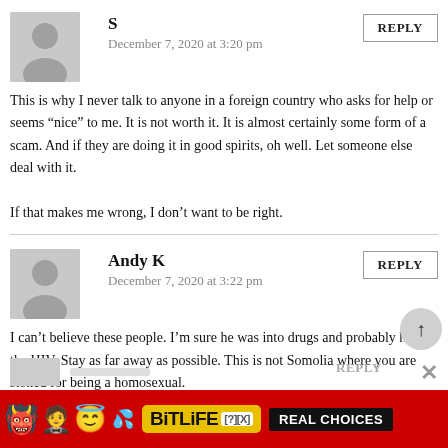S
December 7, 2020 at 3:20 pm
This is why I never talk to anyone in a foreign country who asks for help or seems “nice” to me. It is not worth it. It is almost certainly some form of a scam. And if they are doing it in good spirits, oh well. Let someone else deal with it.

If that makes me wrong, I don’t want to be right.
Andy K
December 7, 2020 at 3:22 pm
I can’t believe these people. I’m sure he was into drugs and probably had the HIV. Stay as far away as possible. This is not Somolia where you are stoned for being a homosexual.
[Figure (other): BitLife advertisement banner with colorful emojis on red background, showing devil emoji, woman emoji, halo emoji, and sperm emoji, with BitLife logo in yellow and REAL CHOICES text in black on dark background]